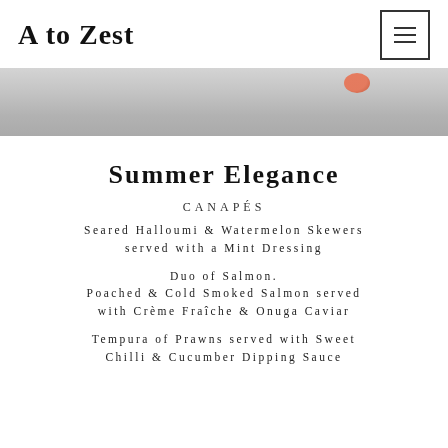A to Zest
[Figure (photo): Partial view of a plate/dish with a blurred gray surface and an orange/red food item visible at top right]
Summer Elegance
CANAPÉS
Seared Halloumi & Watermelon Skewers served with a Mint Dressing
Duo of Salmon. Poached & Cold Smoked Salmon served with Crème Fraîche & Onuga Caviar
Tempura of Prawns served with Sweet Chilli & Cucumber Dipping Sauce